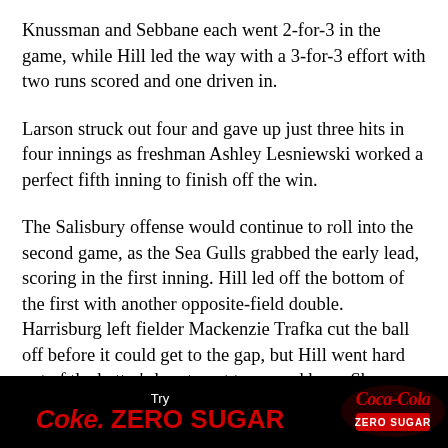Knussman and Sebbane each went 2-for-3 in the game, while Hill led the way with a 3-for-3 effort with two runs scored and one driven in.
Larson struck out four and gave up just three hits in four innings as freshman Ashley Lesniewski worked a perfect fifth inning to finish off the win.
The Salisbury offense would continue to roll into the second game, as the Sea Gulls grabbed the early lead, scoring in the first inning. Hill led off the bottom of the first with another opposite-field double. Harrisburg left fielder Mackenzie Trafka cut the ball off before it could get to the gap, but Hill went hard out of the batter's box to get to second base. She advanced to third on McDowell's sacrifice bunt before Dorsey laced a ball to right field. Keriann Saich was there for the catch, but it was deep
[Figure (other): Coca-Cola Zero Sugar advertisement banner. Black background with 'Try' in white, 'Coke. ZERO SUGAR' in red bold text on the left, and the Coca-Cola Zero Sugar logo on the right.]